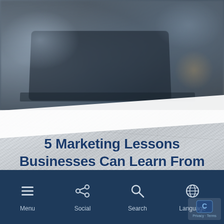[Figure (photo): Blurred office/workspace background photo with dark blue-grey tones, diagonal white stripe overlay, and crumpled paper texture in lower portion]
5 Marketing Lessons Businesses Can Learn From Classic Holiday Characters
© November 30, 2018
Menu  Social  Search  Language  Privacy · Terms